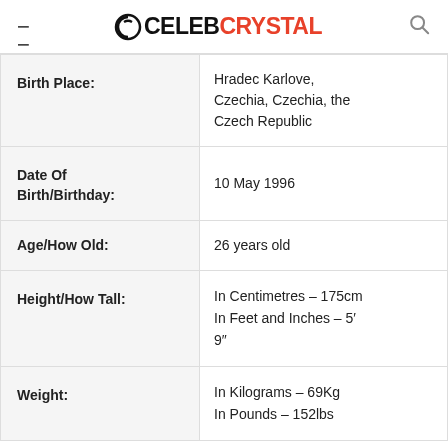CelebCrystal
| Birth Place: | Hradec Karlove, Czechia, Czechia, the Czech Republic |
| Date Of Birth/Birthday: | 10 May 1996 |
| Age/How Old: | 26 years old |
| Height/How Tall: | In Centimetres – 175cm
In Feet and Inches – 5′ 9″ |
| Weight: | In Kilograms – 69Kg
In Pounds – 152lbs |